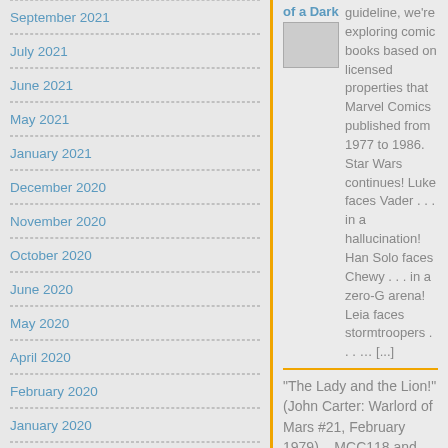September 2021
July 2021
June 2021
May 2021
January 2021
December 2020
November 2020
October 2020
June 2020
May 2020
April 2020
February 2020
January 2020
November 2019
August 2019
of a Dark guideline, we're exploring comic books based on licensed properties that Marvel Comics published from 1977 to 1986. Star Wars continues! Luke faces Vader . . . in a hallucination! Han Solo faces Chewy . . . in a zero-G arena! Leia faces stormtroopers . . . … [...]
"The Lady and the Lion!" (John Carter: Warlord of Mars #21, February 1979) – MCC118 and CBTM152
"The Lady and the Lion!" Using Star Wars as a guideline, we're